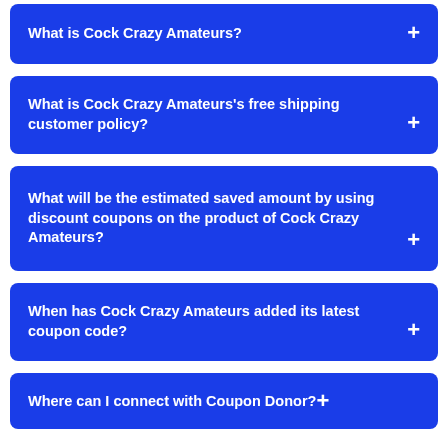What is Cock Crazy Amateurs? +
What is Cock Crazy Amateurs's free shipping customer policy? +
What will be the estimated saved amount by using discount coupons on the product of Cock Crazy Amateurs? +
When has Cock Crazy Amateurs added its latest coupon code? +
Where can I connect with Coupon Donor?+